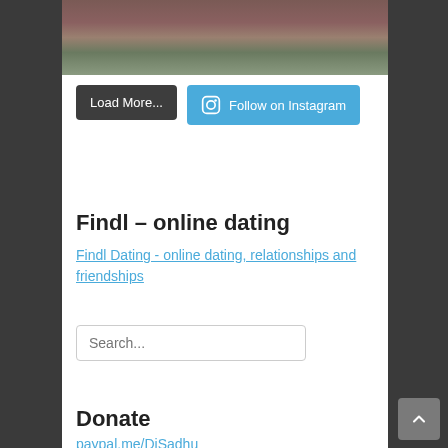[Figure (photo): Landscape photo of canyon with river and cliffs visible at the top of the page]
Load More...
Follow on Instagram
Findl – online dating
Findl Dating - online dating, relationships and friendships
Search...
Donate
paypal.me/DiSadhu